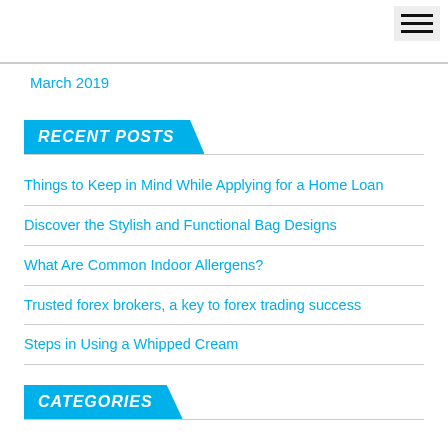☰ (hamburger menu icon)
March 2019
RECENT POSTS
Things to Keep in Mind While Applying for a Home Loan
Discover the Stylish and Functional Bag Designs
What Are Common Indoor Allergens?
Trusted forex brokers, a key to forex trading success
Steps in Using a Whipped Cream
CATEGORIES